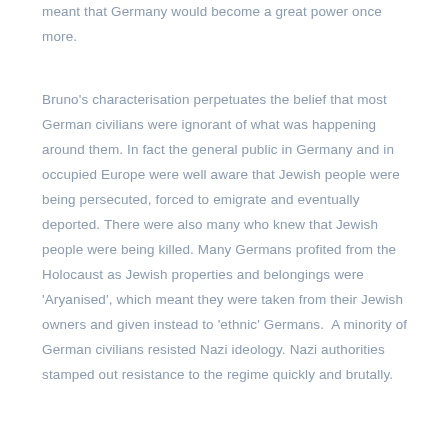meant that Germany would become a great power once more.
Bruno's characterisation perpetuates the belief that most German civilians were ignorant of what was happening around them. In fact the general public in Germany and in occupied Europe were well aware that Jewish people were being persecuted, forced to emigrate and eventually deported. There were also many who knew that Jewish people were being killed. Many Germans profited from the Holocaust as Jewish properties and belongings were 'Aryanised', which meant they were taken from their Jewish owners and given instead to 'ethnic' Germans. A minority of German civilians resisted Nazi ideology. Nazi authorities stamped out resistance to the regime quickly and brutally.